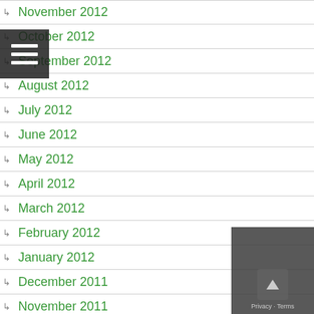November 2012
October 2012
September 2012
August 2012
July 2012
June 2012
May 2012
April 2012
March 2012
February 2012
January 2012
December 2011
November 2011
October 2011
September 2011
August 2011
July 2011
June 2011
May 2011
April 2011
March 2011
February 2011